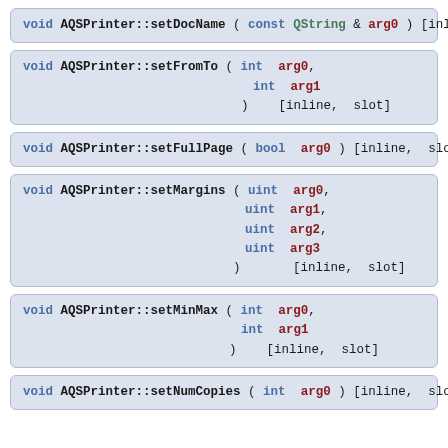void AQSPrinter::setDocName ( const QString & arg0 ) [inline, slot]
void AQSPrinter::setFromTo ( int arg0,
                            int arg1
                          )   [inline, slot]
void AQSPrinter::setFullPage ( bool arg0 ) [inline, slot]
void AQSPrinter::setMargins ( uint arg0,
                             uint arg1,
                             uint arg2,
                             uint arg3
                           )      [inline, slot]
void AQSPrinter::setMinMax ( int arg0,
                            int arg1
                          )   [inline, slot]
void AQSPrinter::setNumCopies ( int arg0 ) [inline, slot]